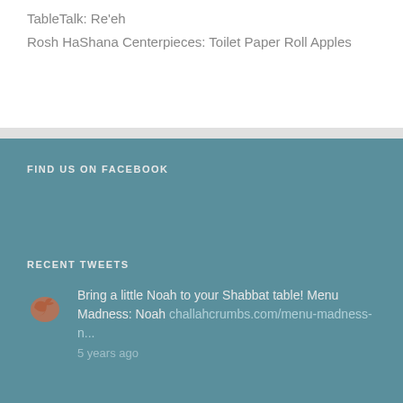TableTalk: Re'eh
Rosh HaShana Centerpieces: Toilet Paper Roll Apples
FIND US ON FACEBOOK
RECENT TWEETS
Bring a little Noah to your Shabbat table! Menu Madness: Noah challahcrumbs.com/menu-madness-n...
5 years ago